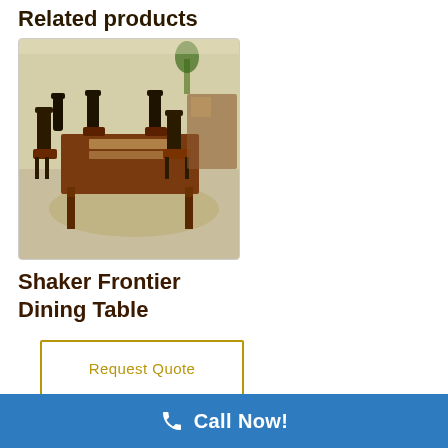Related products
[Figure (photo): Photo of a Shaker Frontier Dining Table set with wooden chairs in a furniture showroom, brown/dark wood tones, light carpeted floor]
Shaker Frontier Dining Table
Request Quote
Call Now!